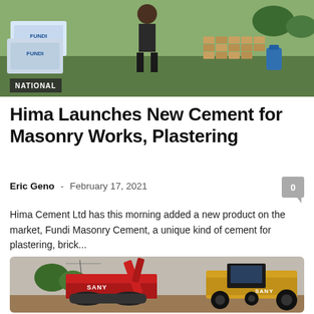[Figure (photo): Outdoor scene showing FUNDI cement bags stacked on grass with bricks and a blue water jug in background]
NATIONAL
Hima Launches New Cement for Masonry Works, Plastering
Eric Geno - February 17, 2021
Hima Cement Ltd has this morning added a new product on the market, Fundi Masonry Cement, a unique kind of cement for plastering, brick...
[Figure (photo): SANY brand heavy construction machinery (excavator and grader) on a road construction site]